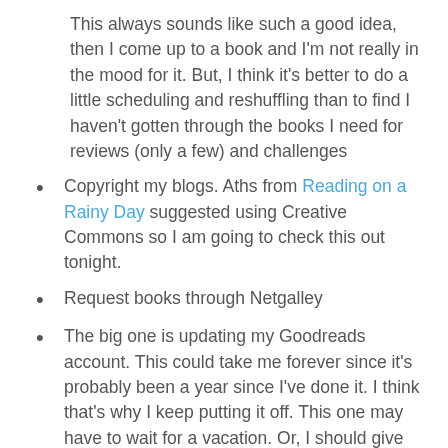This always sounds like such a good idea, then I come up to a book and I'm not really in the mood for it. But, I think it's better to do a little scheduling and reshuffling than to find I haven't gotten through the books I need for reviews (only a few) and challenges
Copyright my blogs. Aths from Reading on a Rainy Day suggested using Creative Commons so I am going to check this out tonight.
Request books through Netgalley
The big one is updating my Goodreads account. This could take me forever since it's probably been a year since I've done it. I think that's why I keep putting it off. This one may have to wait for a vacation. Or, I should give myself small goals: inputting books I've read in one month each weekend....
Apture. I used this for a little while, changed my layout and stopped using it. I just got an email from them saying they have new features. If I